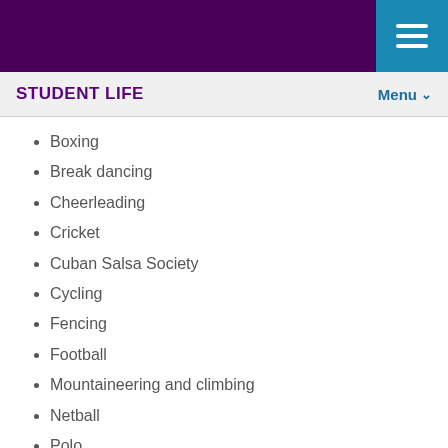STUDENT LIFE
Boxing
Break dancing
Cheerleading
Cricket
Cuban Salsa Society
Cycling
Fencing
Football
Mountaineering and climbing
Netball
Polo
Powerlifting
Rowing
Sailing
Scuba diving
Taekwondo